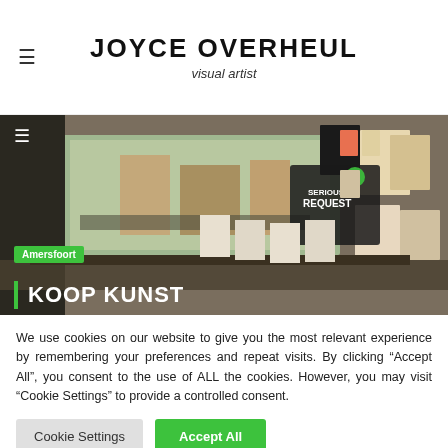JOYCE OVERHEUL
visual artist
[Figure (photo): Photo of an art studio/exhibition space filled with framed artworks and prints on walls and tables. A 'Serious Request' logo is visible in the upper right. A green 'Amersfoort' tag and 'KOOP KUNST' title overlay appear at the bottom.]
We use cookies on our website to give you the most relevant experience by remembering your preferences and repeat visits. By clicking “Accept All”, you consent to the use of ALL the cookies. However, you may visit "Cookie Settings" to provide a controlled consent.
Cookie Settings   Accept All